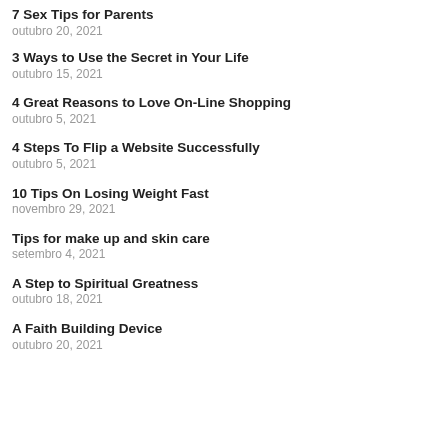7 Sex Tips for Parents
outubro 20, 2021
3 Ways to Use the Secret in Your Life
outubro 15, 2021
4 Great Reasons to Love On-Line Shopping
outubro 5, 2021
4 Steps To Flip a Website Successfully
outubro 5, 2021
10 Tips On Losing Weight Fast
novembro 29, 2021
Tips for make up and skin care
setembro 4, 2021
A Step to Spiritual Greatness
outubro 18, 2021
A Faith Building Device
outubro 20, 2021